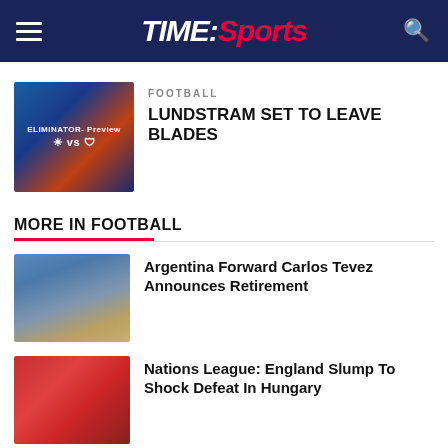TIME:Sports
FOOTBALL
LUNDSTRAM SET TO LEAVE BLADES
MORE IN FOOTBALL
Argentina Forward Carlos Tevez Announces Retirement
Nations League: England Slump To Shock Defeat In Hungary
Brazil no longer rely on Neymar to win games: Coach Tite